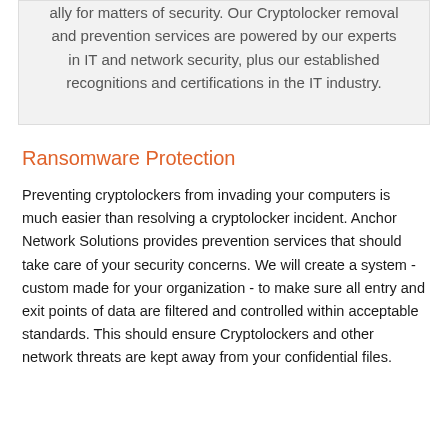ally for matters of security. Our Cryptolocker removal and prevention services are powered by our experts in IT and network security, plus our established recognitions and certifications in the IT industry.
Ransomware Protection
Preventing cryptolockers from invading your computers is much easier than resolving a cryptolocker incident. Anchor Network Solutions provides prevention services that should take care of your security concerns. We will create a system - custom made for your organization - to make sure all entry and exit points of data are filtered and controlled within acceptable standards. This should ensure Cryptolockers and other network threats are kept away from your confidential files.